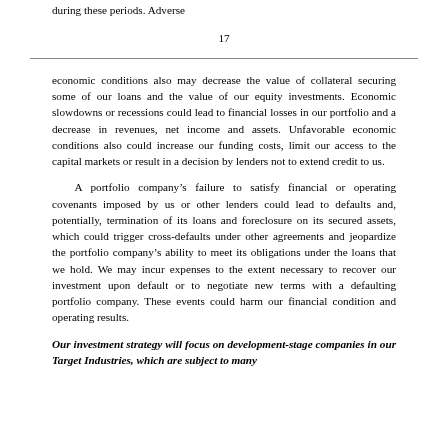during these periods. Adverse
17
economic conditions also may decrease the value of collateral securing some of our loans and the value of our equity investments. Economic slowdowns or recessions could lead to financial losses in our portfolio and a decrease in revenues, net income and assets. Unfavorable economic conditions also could increase our funding costs, limit our access to the capital markets or result in a decision by lenders not to extend credit to us.
A portfolio company’s failure to satisfy financial or operating covenants imposed by us or other lenders could lead to defaults and, potentially, termination of its loans and foreclosure on its secured assets, which could trigger cross-defaults under other agreements and jeopardize the portfolio company’s ability to meet its obligations under the loans that we hold. We may incur expenses to the extent necessary to recover our investment upon default or to negotiate new terms with a defaulting portfolio company. These events could harm our financial condition and operating results.
Our investment strategy will focus on development-stage companies in our Target Industries, which are subject to many